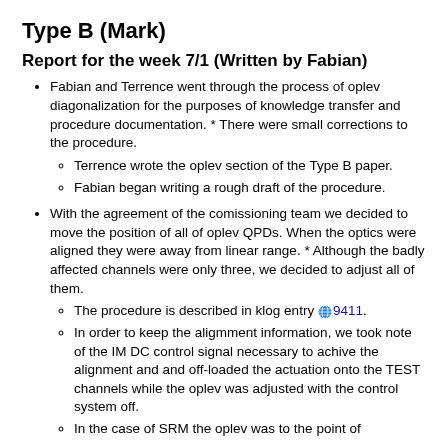Type B (Mark)
Report for the week 7/1 (Written by Fabian)
Fabian and Terrence went through the process of oplev diagonalization for the purposes of knowledge transfer and procedure documentation. * There were small corrections to the procedure.
Terrence wrote the oplev section of the Type B paper.
Fabian began writing a rough draft of the procedure.
With the agreement of the comissioning team we decided to move the position of all of oplev QPDs. When the optics were aligned they were away from linear range. * Although the badly affected channels were only three, we decided to adjust all of them.
The procedure is described in klog entry 9411.
In order to keep the aligmment information, we took note of the IM DC control signal necessary to achive the alignment and and off-loaded the actuation onto the TEST channels while the oplev was adjusted with the control system off.
In the case of SRM the oplev was to the point of